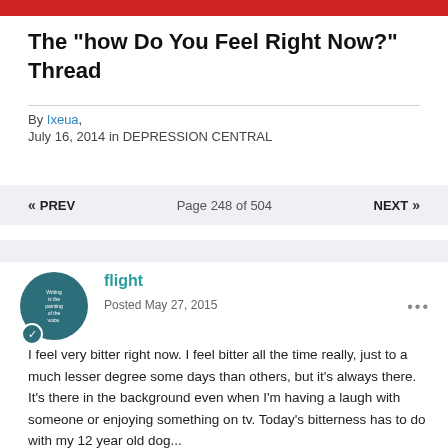The "how Do You Feel Right Now?" Thread
By Ixeua, July 16, 2014 in DEPRESSION CENTRAL
« PREV   Page 248 of 504   NEXT »
flight
Posted May 27, 2015
I feel very bitter right now. I feel bitter all the time really, just to a much lesser degree some days than others, but it's always there. It's there in the background even when I'm having a laugh with someone or enjoying something on tv. Today's bitterness has to do with my 12 year old dog...